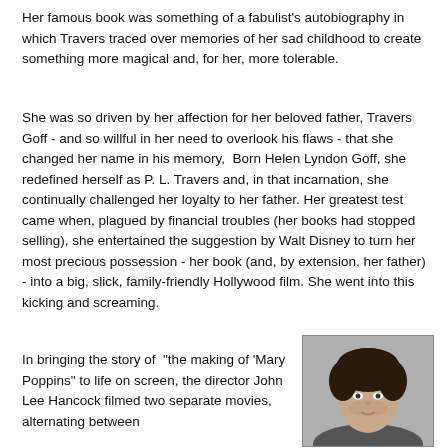Her famous book was something of a fabulist's autobiography in which Travers traced over memories of her sad childhood to create something more magical and, for her, more tolerable.
She was so driven by her affection for her beloved father, Travers Goff - and so willful in her need to overlook his flaws - that she changed her name in his memory.  Born Helen Lyndon Goff, she redefined herself as P. L. Travers and, in that incarnation, she continually challenged her loyalty to her father. Her greatest test came when, plagued by financial troubles (her books had stopped selling), she entertained the suggestion by Walt Disney to turn her most precious possession - her book (and, by extension, her father) - into a big, slick, family-friendly Hollywood film. She went into this kicking and screaming.
In bringing the story of  "the making of 'Mary Poppins" to life on screen, the director John Lee Hancock filmed two separate movies, alternating between
[Figure (photo): Black and white portrait photograph of a woman, appearing to be middle-aged or older, with curly dark hair, looking slightly upward.]